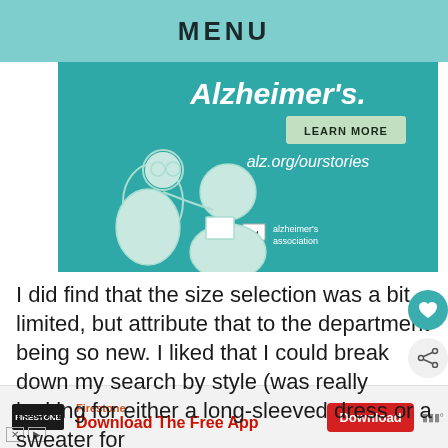MENU
[Figure (illustration): Alzheimer's Association advertisement with teal background showing two illustrated elderly figures, text 'Alzheimer's.', a 'LEARN MORE' button, and 'alz.org/ourstories' URL. Alzheimer's Association logo in bottom right.]
I did find that the size selection was a bit limited, but attribute that to the department being so new. I liked that I could break down my search by style (was really looking for either a long-sleeved dress or a sweater for th
[Figure (advertisement): Firestone 'Download The Free App' banner advertisement with red Download button at bottom of page.]